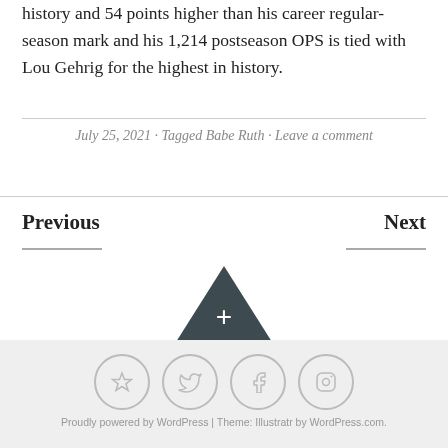history and 54 points higher than his career regular-season mark and his 1,214 postseason OPS is tied with Lou Gehrig for the highest in history.
July 25, 2021 · Tagged Babe Ruth · Leave a comment
Previous
Next
[Figure (illustration): Dark triangle/arrow up icon with a plus sign inside]
[Figure (infographic): Four circular social media icons: star/Bloglovin, Twitter bird, Facebook f, Instagram camera]
Proudly powered by WordPress | Theme: Illustratr by WordPress.com.